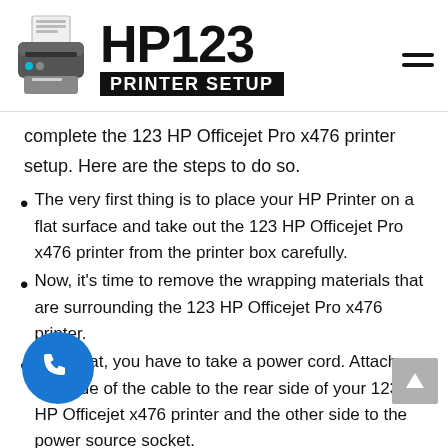HP123 PRINTER SETUP
complete the 123 HP Officejet Pro x476 printer setup. Here are the steps to do so.
The very first thing is to place your HP Printer on a flat surface and take out the 123 HP Officejet Pro x476 printer from the printer box carefully.
Now, it’s time to remove the wrapping materials that are surrounding the 123 HP Officejet Pro x476 printer.
After that, you have to take a power cord. Attach one side of the cable to the rear side of your 123 HP Officejet x476 printer and the other side to the power source socket.
Find the power key and press down it to turn on